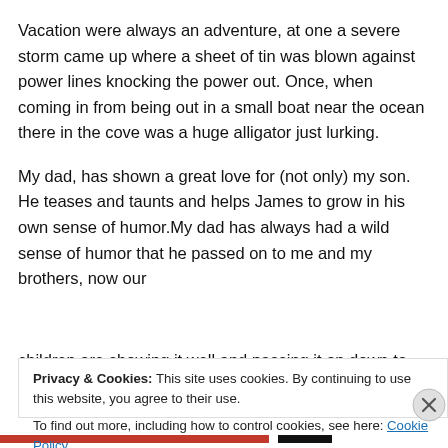Vacation were always an adventure, at one a severe storm came up where a sheet of tin was blown against power lines knocking the power out. Once, when coming in from being out in a small boat near the ocean there in the cove was a huge alligator just lurking.
My dad, has shown a great love for (not only) my son. He teases and taunts and helps James to grow in his own sense of humor.My dad has always had a wild sense of humor that he passed on to me and my brothers, now our children are showing it well and passing it on down to their
Privacy & Cookies: This site uses cookies. By continuing to use this website, you agree to their use.
To find out more, including how to control cookies, see here: Cookie Policy
Close and accept